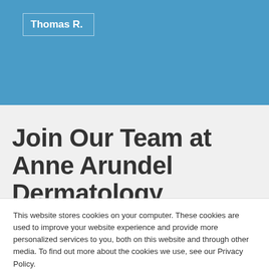Thomas R.
Join Our Team at Anne Arundel Dermatology
Anne Arundel Dermatology is a great place to work. We offer career advancement opportunities. We
This website stores cookies on your computer. These cookies are used to improve your website experience and provide more personalized services to you, both on this website and through other media. To find out more about the cookies we use, see our Privacy Policy.
Accept